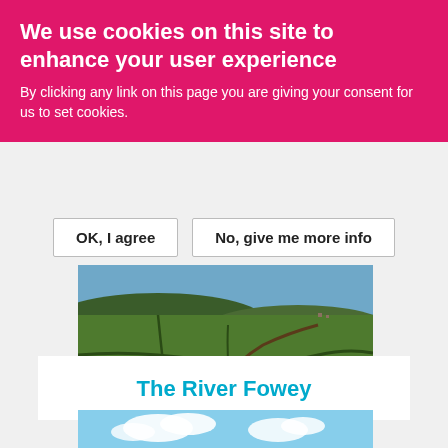We use cookies on this site to enhance your user experience
By clicking any link on this page you are giving your consent for us to set cookies.
OK, I agree
No, give me more info
[Figure (photo): Aerial view of green countryside fields with ancient circular earthwork features and a hill in the background]
The River Fowey
[Figure (photo): Partial view of The River Fowey scene with blue sky and clouds]